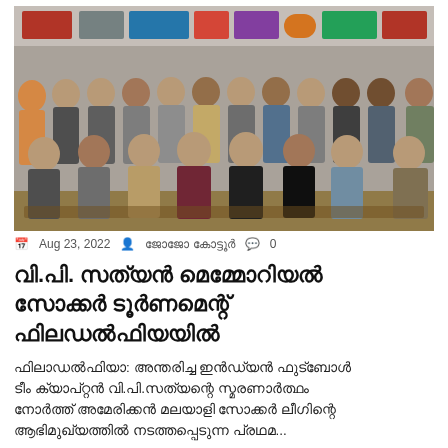[Figure (photo): Group photo of men seated and standing in rows inside a room with banners/posters on the wall behind them. Around 20 men in formal and casual attire.]
Aug 23, 2022  ജോജോ കോട്ടൂര്‍  0
വി.പി. സത്യന്‍ മെമ്മോറിയല്‍ സോക്കര്‍ ടൂര്‍ണമെന്റ് ഫിലഡല്‍ഫിയയില്‍
ഫിലാഡല്‍ഫിയാ: അന്തരിച്ച ഇന്‍ഡ്യന്‍ ഫുട്ബോള്‍ ടീം ക്യാപ്റ്റന്‍ വി.പി.സത്യന്റെ സ്മരണാര്‍ത്ഥം നോര്‍ത്ത് അമേരിക്കന്‍ മലയാളി സോക്കര്‍ ലീഗിന്റെ ആഭിമുഖ്യത്തില്‍ നടത്തപ്പെടുന്ന പ്രഥമ...
AMERICA  SPORTS